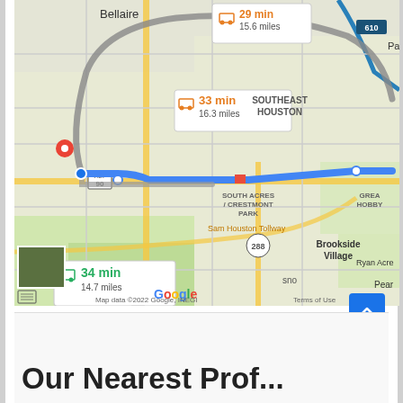[Figure (map): Google Maps screenshot showing driving routes from a location in Houston area. Three route options displayed: 29 min / 15.6 miles (fastest, via I-610), 33 min / 16.3 miles (orange/selected route), and 34 min / 14.7 miles (green, via ALT 90). Blue route line goes east through Southeast Houston, South Acres/Crestmont Park area. Map shows Bellaire, Southeast Houston, Brookside Village, Shadow Creek Ranch, Sam Houston Tollway, highway 288. Map data ©2022 Google, INEGI.]
Our Nearest Prof...